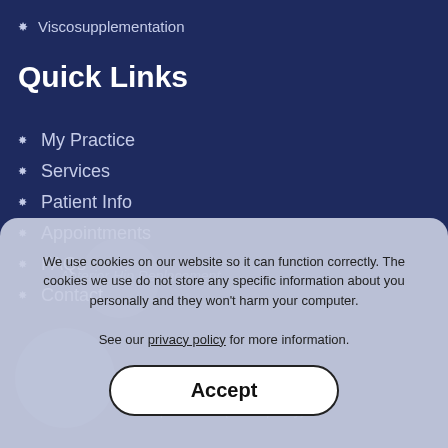Viscosupplementation
Quick Links
My Practice
Services
Patient Info
Appointments
FAQs
Contact
We use cookies on our website so it can function correctly. The cookies we use do not store any specific information about you personally and they won't harm your computer.

See our privacy policy for more information.
Accept